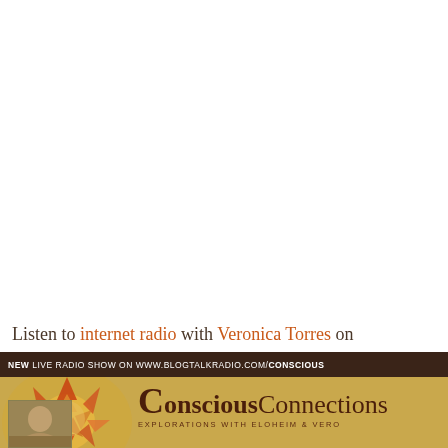Listen to internet radio with Veronica Torres on
[Figure (illustration): Conscious Connections radio show banner with sun mosaic illustration, dark brown top bar with text 'NEW LIVE RADIO SHOW ON WWW.BLOGTALKRADIO.COM/CONSCIOUS', golden/parchment background with sun artwork, title 'ConsciousConnections EXPLORATIONS WITH ELOHEIM & VERO' and small portrait photo bottom left.]